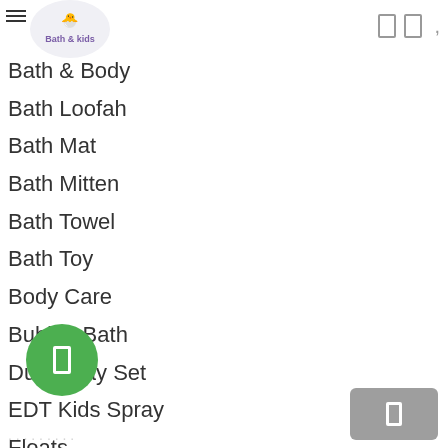Bath & kids
Bath & Body
Bath Loofah
Bath Mat
Bath Mitten
Bath Towel
Bath Toy
Body Care
Bubble Bath
Duck Tray Set
EDT Kids Spray
Floats
Fragrance
Fresheners Promo
Hair Care